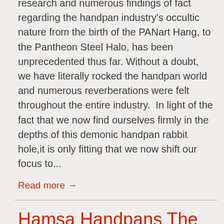research and numerous findings of fact regarding the handpan industry's occultic nature from the birth of the PANart Hang, to the Pantheon Steel Halo, has been unprecedented thus far. Without a doubt, we have literally rocked the handpan world and numerous reverberations were felt throughout the entire industry.  In light of the fact that we now find ourselves firmly in the depths of this demonic handpan rabbit hole,it is only fitting that we now shift our focus to...
Read more →
Hamsa Handpans The Talisman Teams with "Pantasia Gathering", a Secret Society Sect Selling